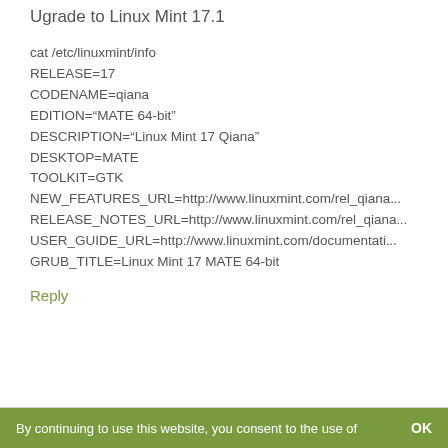Ugrade to Linux Mint 17.1
cat /etc/linuxmint/info
RELEASE=17
CODENAME=qiana
EDITION="MATE 64-bit"
DESCRIPTION="Linux Mint 17 Qiana"
DESKTOP=MATE
TOOLKIT=GTK
NEW_FEATURES_URL=http://www.linuxmint.com/rel_qiana...
RELEASE_NOTES_URL=http://www.linuxmint.com/rel_qiana...
USER_GUIDE_URL=http://www.linuxmint.com/documentati...
GRUB_TITLE=Linux Mint 17 MATE 64-bit
Reply
By continuing to use this website, you consent to the use of   OK